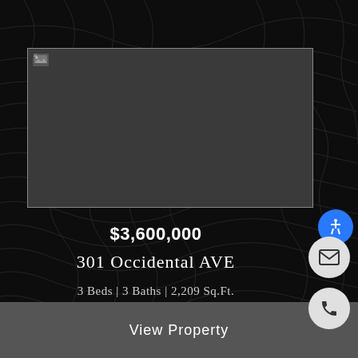[Figure (photo): Property listing image placeholder (broken/loading image) with dark gray background]
$3,600,000
301 Occidental AVE
3 Beds | 3 Baths | 2,209 Sq.Ft.
View Property